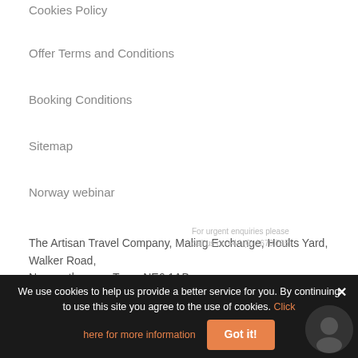Cookies Policy
Offer Terms and Conditions
Booking Conditions
Sitemap
Norway webinar
The Artisan Travel Company, Maling Exchange, Hoults Yard, Walker Road, Newcastle-upon-Tyne, NE6 1AB
PART OF
[Figure (logo): The Artisan Travel Company logo: a triangle made of green, blue and orange triangles, with text 'THE ARTISAN TRAVEL COMPANY' below]
We use cookies to help us provide a better service for you. By continuing to use this site you agree to the use of cookies. Click here for more information  Got it!